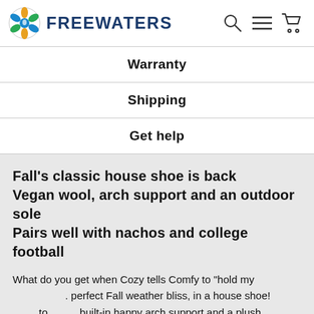FREEWATERS
Warranty
Shipping
Get help
Fall's classic house shoe is back
Vegan wool, arch support and an outdoor sole
Pairs well with nachos and college football
What do you get when Cozy tells Comfy to "hold my . perfect Fall weather bliss, in a house shoe! to built-in happy arch support and a plush vegan-wool upper the Jeffrey Quilted are the perfect cozy-comfy combo. These fun slippers are also sporting a